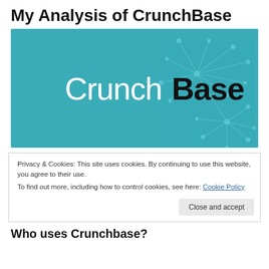My Analysis of CrunchBase
[Figure (logo): CrunchBase logo on teal background with network graph decoration. White text 'Crunch' followed by black text 'Base'.]
Privacy & Cookies: This site uses cookies. By continuing to use this website, you agree to their use.
To find out more, including how to control cookies, see here: Cookie Policy
Close and accept
Who uses Crunchbase?